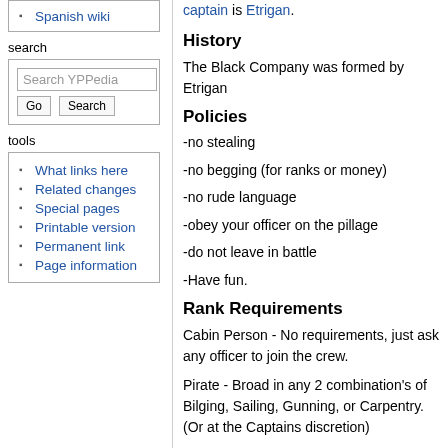Spanish wiki
search
Search YPPedia [Go] [Search]
tools
What links here
Related changes
Special pages
Printable version
Permanent link
Page information
captain is Etrigan.
History
The Black Company was formed by Etrigan
Policies
-no stealing
-no begging (for ranks or money)
-no rude language
-obey your officer on the pillage
-do not leave in battle
-Have fun.
Rank Requirements
Cabin Person - No requirements, just ask any officer to join the crew.
Pirate - Broad in any 2 combination's of Bilging, Sailing, Gunning, or Carpentry. (Or at the Captains discretion)
Officer - Broad in Bilging, Sailing, Gunning, and Carpentry, or own a ship. (Or at the Captains discretion)
First Officer - Solid in Bilging, Sailing, and...